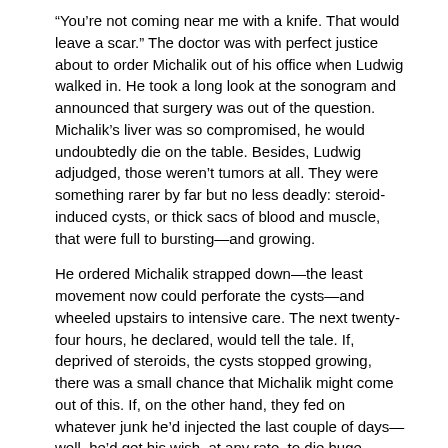“You’re not coming near me with a knife. That would leave a scar.” The doctor was with perfect justice about to order Michalik out of his office when Ludwig walked in. He took a long look at the sonogram and announced that surgery was out of the question. Michalik’s liver was so compromised, he would undoubtedly die on the table. Besides, Ludwig adjudged, those weren’t tumors at all. They were something rarer by far but no less deadly: steroid-induced cysts, or thick sacs of blood and muscle, that were full to bursting—and growing.
He ordered Michalik strapped down—the least movement now could perforate the cysts—and wheeled upstairs to intensive care. The next twenty-four hours, he declared, would tell the tale. If, deprived of steroids, the cysts stopped growing, there was a small chance that Michalik might come out of this. If, on the other hand, they fed on whatever junk he’d injected the last couple of days—well, he’d get his wish, at any rate, to die huge.
Michalik knew it was the liver, of course. He might have been heedless, but he was hardly uninformed. In fact, he knew so much about steroids that he’d written a manual on their use, and gone on the Today show to debate doctors about their efficacy. Like the steroid gurus of southern California, Michalik was a self-taught sorcerer whose laboratory was his body. From the age of eleven, he’d read voraciously in biochemistry, obsessed about finding out what made people big. He walked the streets of Brooklyn as a teenager, knocking on physicians’ doors, begging to be made enlightened about protein synthesis. And years later he scoured the